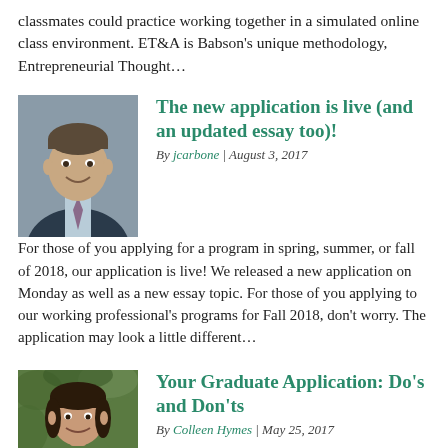classmates could practice working together in a simulated online class environment. ET&A is Babson's unique methodology, Entrepreneurial Thought...
[Figure (photo): Headshot of a man in a suit and tie, smiling, against a gray background]
The new application is live (and an updated essay too)!
By jcarbone | August 3, 2017
For those of you applying for a program in spring, summer, or fall of 2018, our application is live!  We released a new application on Monday as well as a new essay topic. For those of you applying to our working professional's programs for Fall 2018, don't worry. The application may look a little different...
[Figure (photo): Headshot of a woman smiling, outdoors with green foliage background]
Your Graduate Application: Do’s and Don’ts
By Colleen Hymes | May 25, 2017